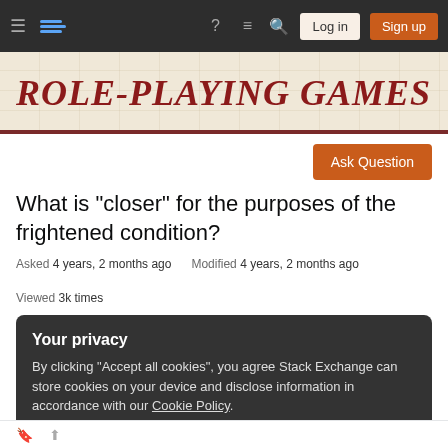Role-playing Games — Stack Exchange navigation bar with Log in and Sign up buttons
Role-playing Games
Ask Question
What is "closer" for the purposes of the frightened condition?
Asked 4 years, 2 months ago   Modified 4 years, 2 months ago   Viewed 3k times
Your privacy
By clicking "Accept all cookies", you agree Stack Exchange can store cookies on your device and disclose information in accordance with our Cookie Policy.
Accept all cookies   Customize settings